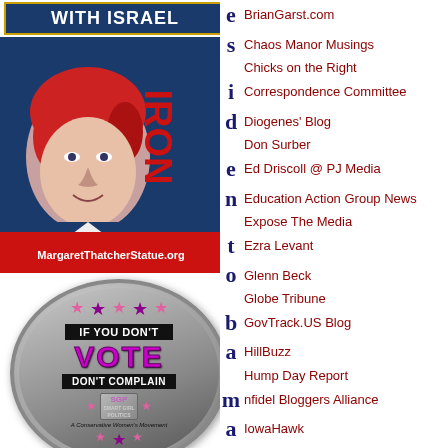[Figure (illustration): Banner reading WITH ISRAEL in white bold text on dark blue background with gold border]
[Figure (illustration): Margaret Thatcher IRON poster with text MargaretThatcherStatue.org]
[Figure (illustration): Smart Girl Politics circular badge: IF YOU DON'T VOTE DON'T COMPLAIN with stars and SGP logo]
[Figure (logo): FreedomConnector logo with blue star and italic text]
BrianGarst.com
Chaos Manor Musings
Chicks on the Right
Correspondence Committee
Diogenes' Blog
Don Surber
Ed Driscoll @ PJ Media
Education Action Group News
Expose The Media
Ezra Levant
Glenn Beck
Globe Tribune
GovTrack.US Blog
HillBuzz
Hump Day Report
nfidel Bloggers Alliance
IowaHawk
Israel Survival Updates
Kafir Crusaders
KeyWiki
Left Coast Rebel
Lemur King's Folly